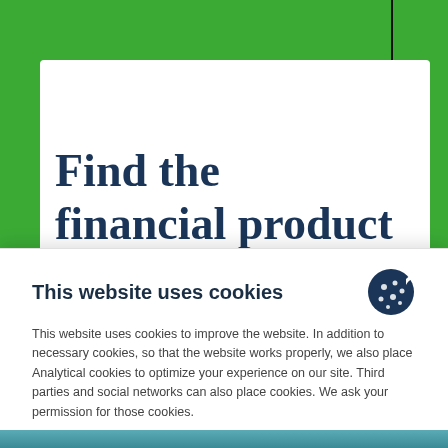Find the financial product that suits you
This website uses cookies
This website uses cookies to improve the website. In addition to necessary cookies, so that the website works properly, we also place Analytical cookies to optimize your experience on our site. Third parties and social networks can also place cookies. We ask your permission for those cookies.
Customize ∨
Decline   Accept all